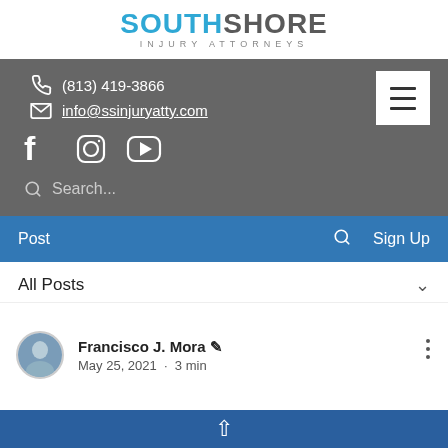[Figure (logo): SouthShore Injury Attorneys logo with SOUTH in blue and SHORE in gray, subtitle INJURY ATTORNEYS in spaced gray letters]
(813) 419-3866
info@ssinjuryatty.com
[Figure (screenshot): Social media icons: Facebook, Instagram, YouTube and a hamburger menu button]
Search...
Post
Sign Up
All Posts
Francisco J. Mora
May 25, 2021  ·  3 min